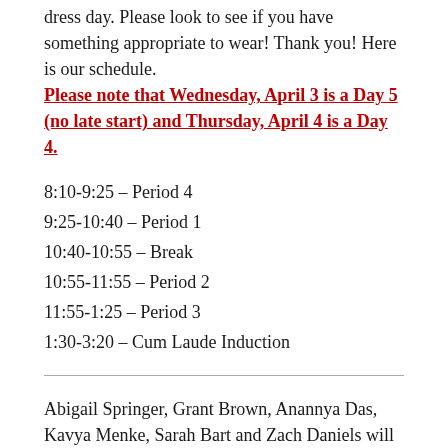dress day. Please look to see if you have something appropriate to wear! Thank you! Here is our schedule. Please note that Wednesday, April 3 is a Day 5 (no late start) and Thursday, April 4 is a Day 4.
8:10-9:25 – Period 4
9:25-10:40 – Period 1
10:40-10:55 – Break
10:55-11:55 – Period 2
11:55-1:25 – Period 3
1:30-3:20 – Cum Laude Induction
Abigail Springer, Grant Brown, Anannya Das, Kavya Menke, Sarah Bart and Zach Daniels will be performing with the Athens Youth Symphony on April 7th at 4:00 at